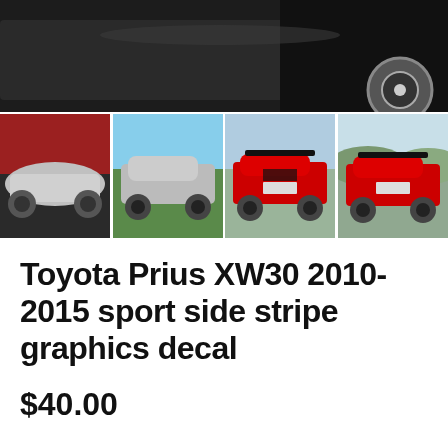[Figure (photo): Main product photo showing a car (Toyota Prius) from a dark angle, with visible wheel, dark background]
[Figure (photo): Four thumbnail photos of Toyota Prius: silver side view, silver rear three-quarter, red rear three-quarter with spoiler, red rear three-quarter with spoiler]
Toyota Prius XW30 2010-2015 sport side stripe graphics decal
$40.00